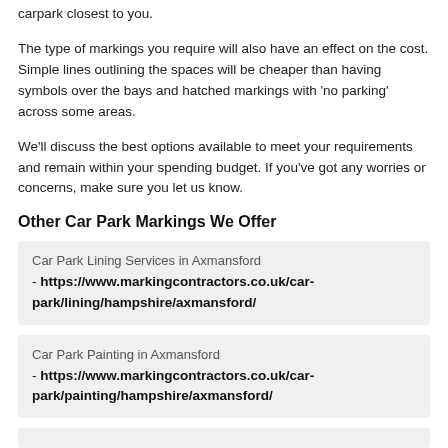carpark closest to you.
The type of markings you require will also have an effect on the cost. Simple lines outlining the spaces will be cheaper than having symbols over the bays and hatched markings with 'no parking' across some areas.
We'll discuss the best options available to meet your requirements and remain within your spending budget. If you've got any worries or concerns, make sure you let us know.
Other Car Park Markings We Offer
Car Park Lining Services in Axmansford - https://www.markingcontractors.co.uk/car-park/lining/hampshire/axmansford/
Car Park Painting in Axmansford - https://www.markingcontractors.co.uk/car-park/painting/hampshire/axmansford/